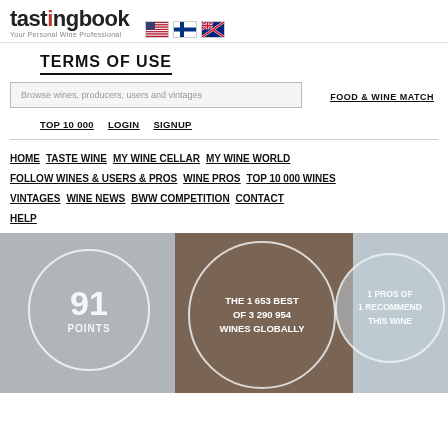tastingbook — Your Personal Wine Professional
TERMS OF USE
Browse wines, producers, users and vintages
FOOD & WINE MATCH
TOP 10 000
LOGIN
SIGNUP
HOME
TASTE WINE
MY WINE CELLAR
MY WINE WORLD
FOLLOW WINES & USERS & PROS
WINE PROS
TOP 10 000 WINES
VINTAGES
WINE NEWS
BWW COMPETITION
CONTACT
HELP
[Figure (infographic): Banner with three circular badges: left circle shows '91 POINTS', center circle shows 'THE 1 653 BEST OF 3 290 954 WINES GLOBALLY', right circle shows '1 PROS OF 1 RECOMMEND THIS WINE']